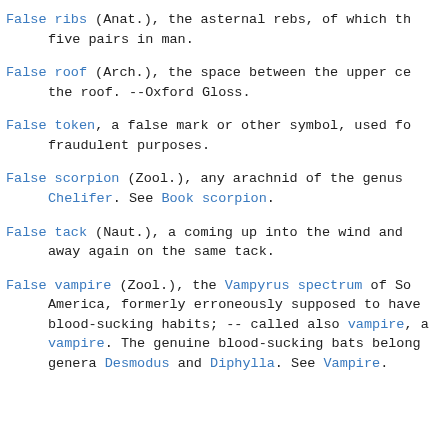False ribs (Anat.), the asternal rebs, of which there are five pairs in man.
False roof (Arch.), the space between the upper ceiling and the roof. --Oxford Gloss.
False token, a false mark or other symbol, used for fraudulent purposes.
False scorpion (Zool.), any arachnid of the genus Chelifer. See Book scorpion.
False tack (Naut.), a coming up into the wind and away again on the same tack.
False vampire (Zool.), the Vampyrus spectrum of South America, formerly erroneously supposed to have blood-sucking habits; -- called also vampire, and vampire. The genuine blood-sucking bats belong to the genera Desmodus and Diphylla. See Vampire.